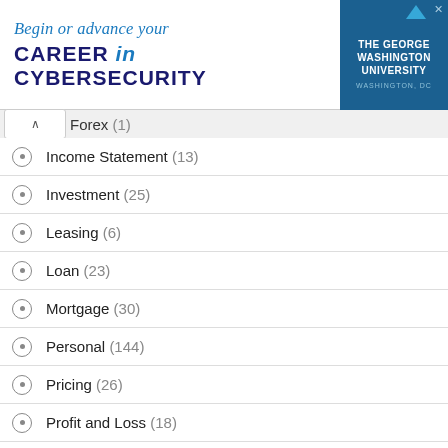[Figure (other): Advertisement banner for The George Washington University cybersecurity program]
Forex (1)
Income Statement (13)
Investment (25)
Leasing (6)
Loan (23)
Mortgage (30)
Personal (144)
Pricing (26)
Profit and Loss (18)
ROI (11)
Sales and Marketing (69)
Stocks (10)
Taxes (10)